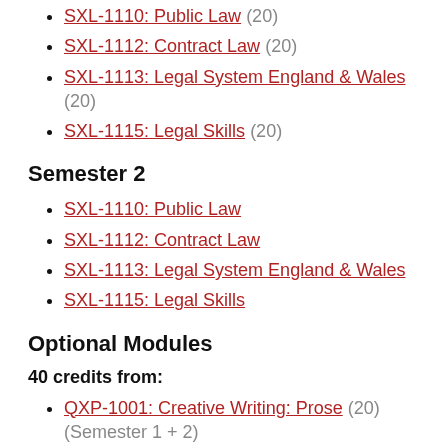SXL-1110: Public Law (20)
SXL-1112: Contract Law (20)
SXL-1113: Legal System England & Wales (20)
SXL-1115: Legal Skills (20)
Semester 2
SXL-1110: Public Law
SXL-1112: Contract Law
SXL-1113: Legal System England & Wales
SXL-1115: Legal Skills
Optional Modules
40 credits from:
QXP-1001: Creative Writing: Prose (20) (Semester 1 + 2)